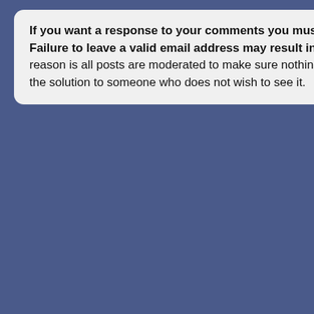If you want a response to your comments you must leave a valid email address. Failure to leave a valid email address may result in your post being ignored. The reason is all posts are moderated to make sure nothing is posted that will give away the solution to someone who does not wish to see it.
Comment Pa...
Leave a Com...
Your name
Your email
Your website
Your comment
Confirm you are No...
Subscribe to c...